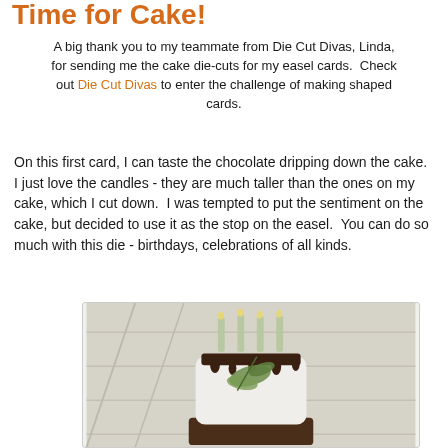Time for Cake!
A big thank you to my teammate from Die Cut Divas, Linda, for sending me the cake die-cuts for my easel cards.  Check out Die Cut Divas to enter the challenge of making shaped cards.
On this first card, I can taste the chocolate dripping down the cake.  I just love the candles - they are much taller than the ones on my cake, which I cut down.  I was tempted to put the sentiment on the cake, but decided to use it as the stop on the easel.  You can do so much with this die - birthdays, celebrations of all kinds.
[Figure (photo): A handmade easel card featuring a white two-tier cake with chocolate drip frosting, green botanical embellishment, and light green candles, photographed against a light wooden background.]